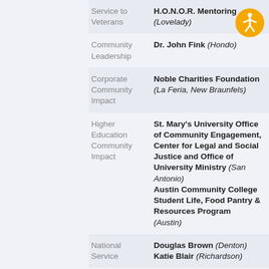| Category | Recipient |
| --- | --- |
| Service to Veterans | H.O.N.O.R. Mentoring (Lovelady) |
| Community Leadership | Dr. John Fink (Hondo) |
| Corporate Community Impact | Noble Charities Foundation (La Feria, New Braunfels) |
| Higher Education Community Impact | St. Mary's University Office of Community Engagement, Center for Legal and Social Justice and Office of University Ministry (San Antonio)
Austin Community College Student Life, Food Pantry & Resources Program (Austin) |
| National Service | Douglas Brown (Denton)
Katie Blair (Richardson) |
[Figure (illustration): Orange circular accessibility icon with a person figure in white]